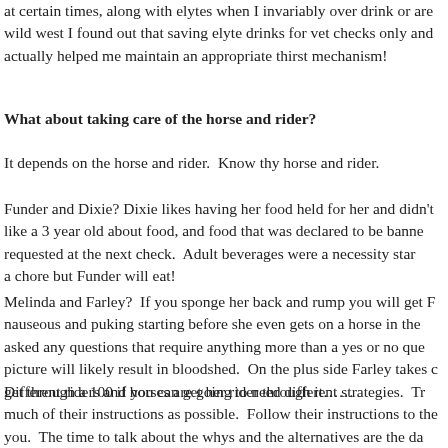at certain times, along with elytes when I invariably over drink or are wild west I found out that saving elyte drinks for vet checks only and actually helped me maintain an appropriate thirst mechanism!
What about taking care of the horse and rider?
It depends on the horse and rider.  Know thy horse and rider.
Funder and Dixie? Dixie likes having her food held for her and didn't like a 3 year old about food, and food that was declared to be banne requested at the next check.  Adult beverages were a necessity star a chore but Funder will eat!
Melinda and Farley?  If you sponge her back and rump you will get F nauseous and puking starting before she even gets on a horse in the asked any questions that require anything more than a yes or no que picture will likely result in bloodshed.  On the plus side Farley takes get through a 100 if you can get her rider through it……
Different riders and horses are going to need different strategies.  Tr much of their instructions as possible.  Follow their instructions to the you.  The time to talk about the whys and the alternatives are the da day of the ride. Ultimately the decisions made regarding the ride and as the crew is to help the rider ride THEIR ride and to affirm their dec